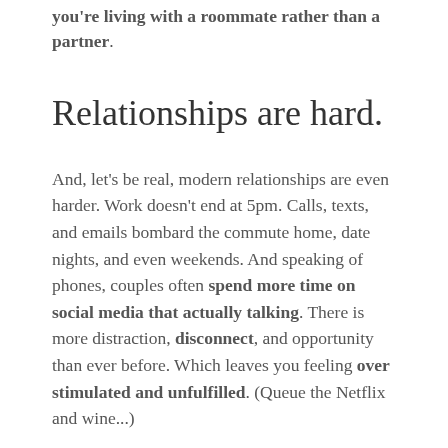you're living with a roommate rather than a partner.
Relationships are hard.
And, let's be real, modern relationships are even harder. Work doesn't end at 5pm. Calls, texts, and emails bombard the commute home, date nights, and even weekends. And speaking of phones, couples often spend more time on social media that actually talking. There is more distraction, disconnect, and opportunity than ever before. Which leaves you feeling over stimulated and unfulfilled. (Queue the Netflix and wine...)
It doesn't have to stay this